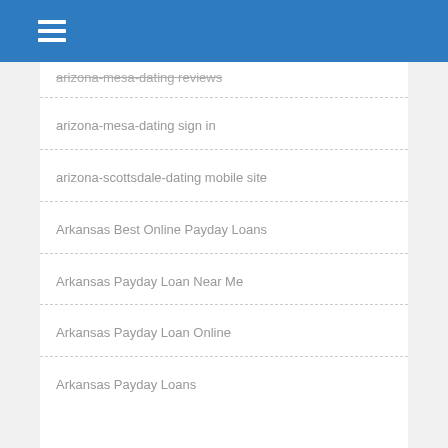arizona-mesa-dating reviews
arizona-mesa-dating sign in
arizona-scottsdale-dating mobile site
Arkansas Best Online Payday Loans
Arkansas Payday Loan Near Me
Arkansas Payday Loan Online
Arkansas Payday Loans